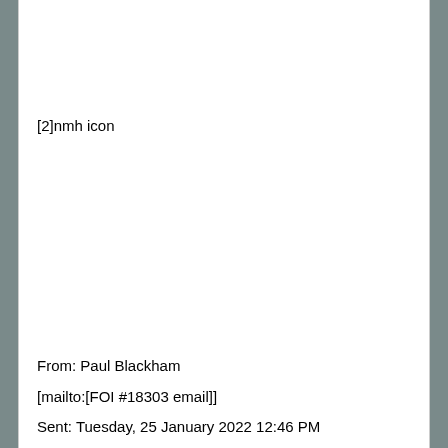[2]nmh icon
From: Paul Blackham
[mailto:[FOI #18303 email]]
Sent: Tuesday, 25 January 2022 12:46 PM